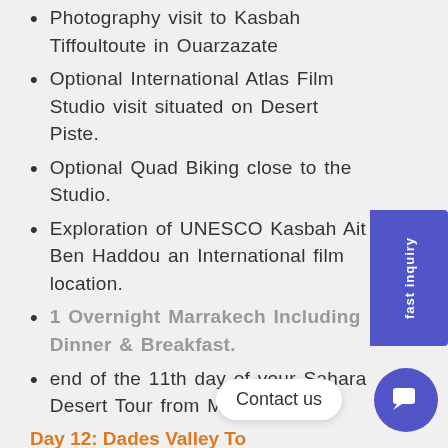Photography visit to Kasbah Tiffoultoute in Ouarzazate
Optional International Atlas Film Studio visit situated on Desert Piste.
Optional Quad Biking close to the Studio.
Exploration of UNESCO Kasbah Ait Ben Haddou an International film location.
1 Overnight Marrakech Including Dinner & Breakfast.
end of the 11th day of your Sahara Desert Tour from Marrakech.
Day 12: Dades Valley To